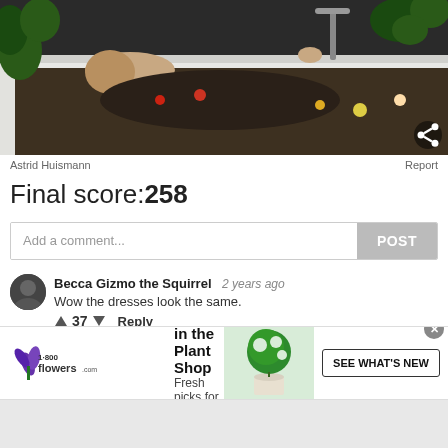[Figure (photo): A person lying in a bathtub filled with dark soil/earth and surrounded by colorful flowers and plants. Greenery visible around the tub edges. Faucet visible in background.]
Astrid Huismann
Report
Final score:258
Add a comment...
POST
Becca Gizmo the Squirrel  2 years ago
Wow the dresses look the same.
37  Reply
[Figure (logo): 1-800-flowers.com logo with purple flower icon]
Now in the Plant Shop
Fresh picks for summer
SEE WHAT'S NEW